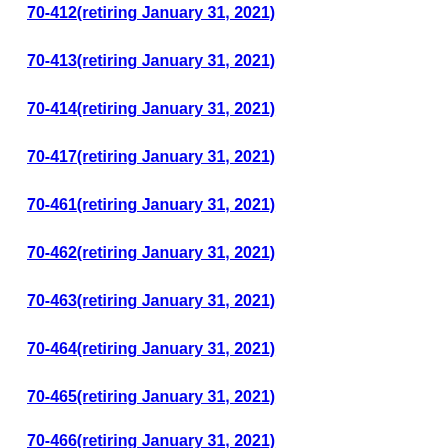70-412(retiring January 31, 2021)
70-413(retiring January 31, 2021)
70-414(retiring January 31, 2021)
70-417(retiring January 31, 2021)
70-461(retiring January 31, 2021)
70-462(retiring January 31, 2021)
70-463(retiring January 31, 2021)
70-464(retiring January 31, 2021)
70-465(retiring January 31, 2021)
70-466(retiring January 31, 2021)